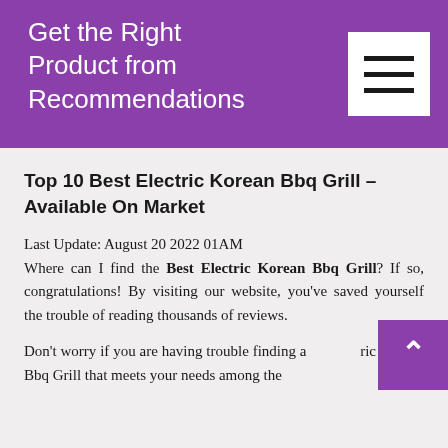Get the Right Product from Recommendations
Top 10 Best Electric Korean Bbq Grill – Available On Market
Last Update: August 20 2022 01AM
Where can I find the Best Electric Korean Bbq Grill? If so, congratulations! By visiting our website, you've saved yourself the trouble of reading thousands of reviews.
Don't worry if you are having trouble finding a Electric Korean Bbq Grill that meets your needs among the